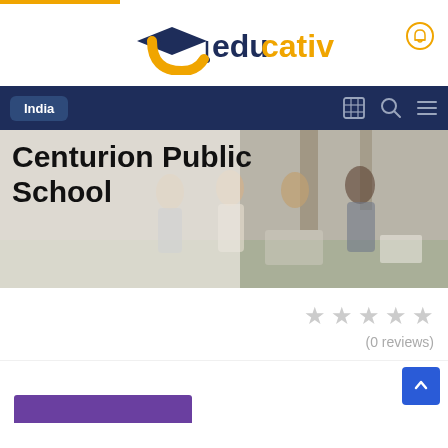[Figure (logo): Educativ logo with graduation cap - navy and orange colors, text reads 'educativ']
India
[Figure (photo): Hero image of diverse students sitting outdoors with laptops and books, overlaid with title text 'Centurion Public School']
Centurion Public School
(0 reviews)